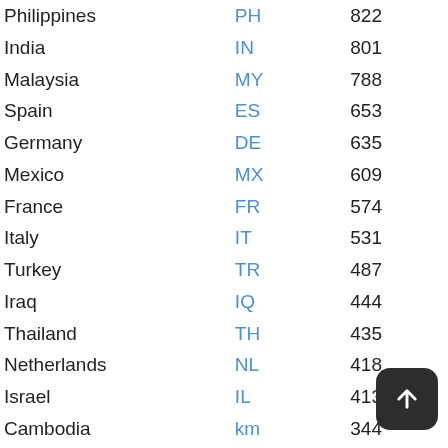| Country | Code | Value |
| --- | --- | --- |
| Philippines | PH | 822 |
| India | IN | 801 |
| Malaysia | MY | 788 |
| Spain | ES | 653 |
| Germany | DE | 635 |
| Mexico | MX | 609 |
| France | FR | 574 |
| Italy | IT | 531 |
| Turkey | TR | 487 |
| Iraq | IQ | 444 |
| Thailand | TH | 435 |
| Netherlands | NL | 418 |
| Israel | IL | 413 |
| Cambodia | km | 344 |
| Algeria | DZ | 265 |
| Ireland | IE | 239 |